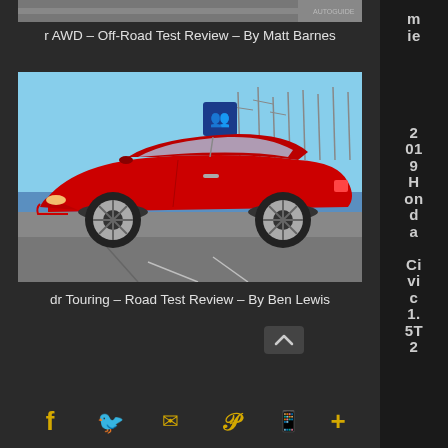[Figure (photo): Top cropped image strip of a vehicle]
r AWD – Off-Road Test Review – By Matt Barnes
[Figure (photo): Side profile of a red 2019 Honda Civic 1.5T coupe parked near a marina with sailboats in the background]
dr Touring – Road Test Review – By Ben Lewis
2019 Honda Civic 1.5T 2
f  (twitter)  (email)  (pinterest)  (whatsapp)  +